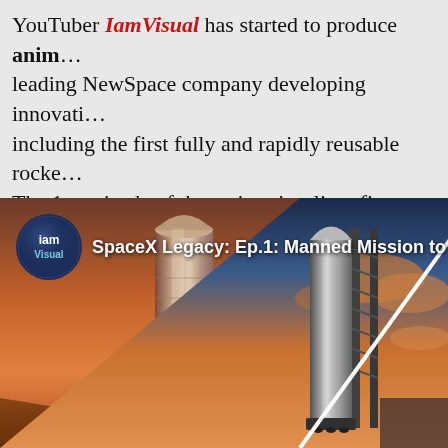YouTuber IamVisual has started to produce anim… leading NewSpace company developing innovati… including the first fully and rapidly reusable rocke… The 1st episode of the series visualizes first hum…
[Figure (photo): YouTube video thumbnail for 'SpaceX Legacy: Ep.1: Manned Mission to Mars' by IamVisual, showing two SpaceX Starship rockets — one metallic on a Martian surface on the left, one on a launch tower at sunset on the right — with the IamVisual channel logo badge and video title text overlay.]